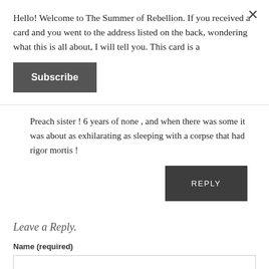Hello! Welcome to The Summer of Rebellion. If you received a card and you went to the address listed on the back, wondering what this is all about, I will tell you. This card is a
Subscribe
Preach sister ! 6 years of none , and when there was some it was about as exhilarating as sleeping with a corpse that had rigor mortis !
REPLY
Leave a Reply.
Name (required)